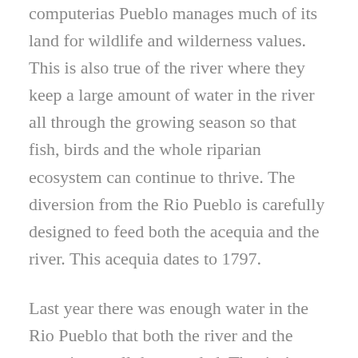computerias Pueblo manages much of its land for wildlife and wilderness values. This is also true of the river where they keep a large amount of water in the river all through the growing season so that fish, birds and the whole riparian ecosystem can continue to thrive. The diversion from the Rio Pueblo is carefully designed to feed both the acequia and the river. This acequia dates to 1797.
Last year there was enough water in the Rio Pueblo that both the river and the acequia got all they needed. That isn't true this year. By longstanding agreement between the Pueblo and the acequia, Jaramillo can only take water out Friday night to Monday morning but this year there is not even enough water to soak the ditch to the first acreage. All at times of